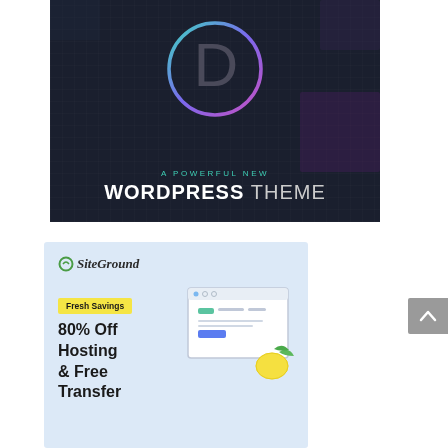[Figure (illustration): Divi WordPress theme advertisement: dark background with mosaic/pixel texture, large circular gradient ring (teal to purple) containing a 'D' letter, text 'A POWERFUL NEW' in teal and 'WORDPRESS THEME' in white bold.]
[Figure (illustration): SiteGround hosting advertisement: light blue background, SiteGround logo top-left, yellow 'Fresh Savings' badge, large bold text '80% Off Hosting & Free Transfer', browser window illustration with lemon/leaf decorations on the right side.]
[Figure (illustration): Gray scroll-to-top button with upward-pointing chevron/arrow, positioned at right edge of page.]